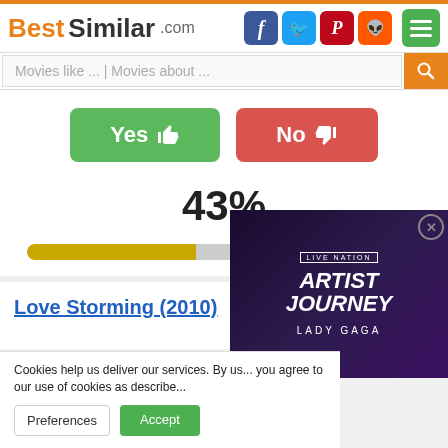BestSimilar.com
Movies like ... | Movies about ...
[Figure (infographic): Yes thumbs-up button (green) and No thumbs-down button (red), voting UI]
43%
[Figure (infographic): Progress bar showing 43% filled in gold/yellow, rest grey]
Love Storming (2010)
5.9
1K
[Figure (photo): Live Nation Artist Journey Lady Gaga video advertisement overlay with purple/dark background]
Cookies help us deliver our services. By us... you agree to our use of cookies as describe...
Preferences
Accept